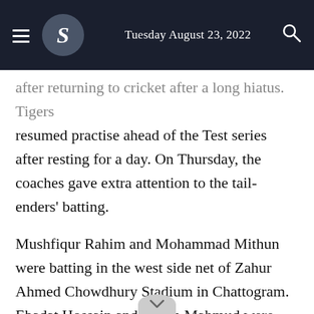Tuesday August 23, 2022
after returning to cricket after a long hiatus. Tigers resumed practise ahead of the Test series after resting for a day. On Thursday, the coaches gave extra attention to the tail-enders' batting.
Mushfiqur Rahim and Mohammad Mithun were batting in the west side net of Zahur Ahmed Chowdhury Stadium in Chattogram. Ebadat Hossain and Hasan Mahmud were bowling them. Bowling coach Otis Gibson was only to be seen there. Head coach Russell Domingo, fielding coach Ryan Cook were on the other side.
Net practice was also going on there. Domingo and Cook were working with... Jason and Shadman...